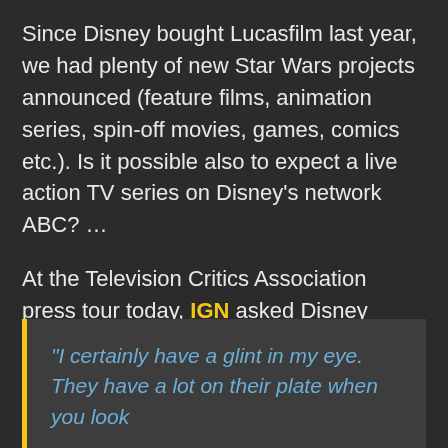Since Disney bought Lucasfilm last year, we had plenty of new Star Wars projects announced (feature films, animation series, spin-off movies, games, comics etc.). Is it possible also to expect a live action TV series on Disney's network ABC? …
At the Television Critics Association press tour today, IGN asked Disney president Paul Lee about the possibility of Star Wars live action TV series on ABC. Here's Lee's reply:
"I certainly have a glint in my eye. They have a lot on their plate when you look at the features that they have coming…"